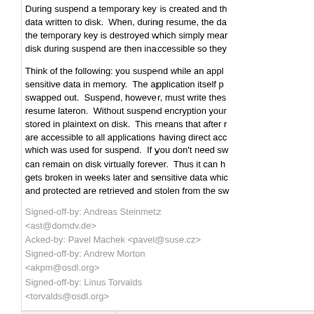During suspend a temporary key is created and the data written to disk. When, during resume, the data is read, the temporary key is destroyed which simply means the data written to disk during suspend are then inaccessible so they...
Think of the following: you suspend while an application has sensitive data in memory. The application itself probably swapped out. Suspend, however, must write these pages out to resume lateron. Without suspend encryption your sensitive data is stored in plaintext on disk. This means that after resume they are accessible to all applications having direct access to the swap which was used for suspend. If you don't need swap then the data can remain on disk virtually forever. Thus it can happen that a gets broken in weeks later and sensitive data which was thought safe and protected are retrieved and stolen from the sw...
Signed-off-by: Andreas Steinmetz <ast@domdv.de>
Acked-by: Pavel Machek <pavel@suse.cz>
Signed-off-by: Andrew Morton <akpm@osdl.org>
Signed-off-by: Linus Torvalds <torvalds@osdl.org>
16 years ago
tree
[PATCH] fix pm_message_t stuff in -mm
commit | commitdiff | tree
Pavel Machek [Sat, 3 Sep 2005 22:56:58 +0000 (15:56 -0700)]